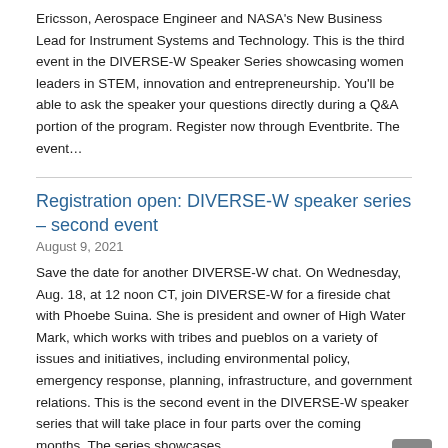Ericsson, Aerospace Engineer and NASA's New Business Lead for Instrument Systems and Technology. This is the third event in the DIVERSE-W Speaker Series showcasing women leaders in STEM, innovation and entrepreneurship. You'll be able to ask the speaker your questions directly during a Q&A portion of the program. Register now through Eventbrite. The event…
Registration open: DIVERSE-W speaker series – second event
August 9, 2021
Save the date for another DIVERSE-W chat. On Wednesday, Aug. 18, at 12 noon CT, join DIVERSE-W for a fireside chat with Phoebe Suina. She is president and owner of High Water Mark, which works with tribes and pueblos on a variety of issues and initiatives, including environmental policy, emergency response, planning, infrastructure, and government relations. This is the second event in the DIVERSE-W speaker series that will take place in four parts over the coming months. The series showcases…
Registration open: DIVERSE-W speaker series